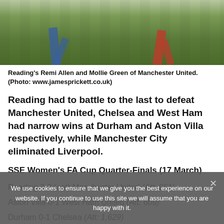[Figure (photo): Soccer players on a grass field — Reading's Remi Allen and Mollie Green of Manchester United, legs visible in action]
Reading's Remi Allen and Mollie Green of Manchester United. (Photo: www.jamesprickett.co.uk)
Reading had to battle to the last to defeat Manchester United, Chelsea and West Ham had narrow wins at Durham and Aston Villa respectively, while Manchester City eliminated Liverpool.
SSE Women's FA Cup Quarter-Finals (17 March)
Reading 3-2 (aet) Manchester United (Att: 951)
Aston Villa 0-1 West Ham United (Att: 609)
Durham 0-1 Chelsea (Att: 1,629)